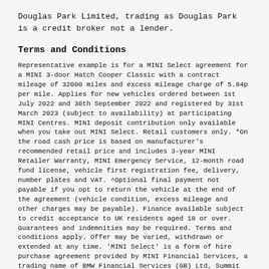Douglas Park Limited, trading as Douglas Park is a credit broker not a lender.
Terms and Conditions
Representative example is for a MINI Select agreement for a MINI 3-door Hatch Cooper Classic with a contract mileage of 32000 miles and excess mileage charge of 5.84p per mile. Applies for new vehicles ordered between 1st July 2022 and 30th September 2022 and registered by 31st March 2023 (subject to availability) at participating MINI Centres. MINI deposit contribution only available when you take out MINI Select. Retail customers only. *On the road cash price is based on manufacturer's recommended retail price and includes 3-year MINI Retailer Warranty, MINI Emergency Service, 12-month road fund license, vehicle first registration fee, delivery, number plates and VAT. ^Optional final payment not payable if you opt to return the vehicle at the end of the agreement (vehicle condition, excess mileage and other charges may be payable). Finance available subject to credit acceptance to UK residents aged 18 or over. Guarantees and indemnities may be required. Terms and conditions apply. Offer may be varied, withdrawn or extended at any time. 'MINI Select' is a form of hire purchase agreement provided by MINI Financial Services, a trading name of BMW Financial Services (GB) Ltd, Summit ONE, Summit Avenue, Farnborough, Hampshire, GU14 0FB. You will have a 14 day statutory right to withdraw from the agreement. Douglas Park Limited, trading as Douglas Park...